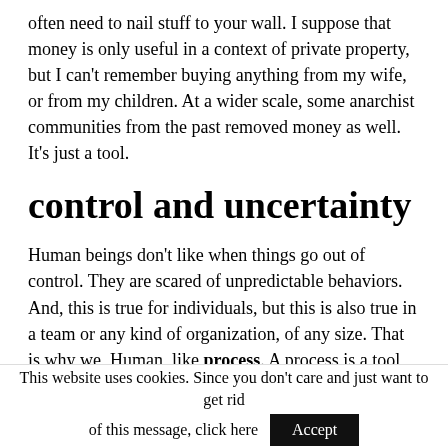often need to nail stuff to your wall. I suppose that money is only useful in a context of private property, but I can't remember buying anything from my wife, or from my children. At a wider scale, some anarchist communities from the past removed money as well. It's just a tool.
control and uncertainty
Human beings don't like when things go out of control. They are scared of unpredictable behaviors. And, this is true for individuals, but this is also true in a team or any kind of organization, of any size. That is why we, Human, like process. A process is a tool, or a set of tools, for keeping things from happening in an unpredictable manner. A process can be heavy and constraining, but it is
This website uses cookies. Since you don't care and just want to get rid of this message, click here  Accept